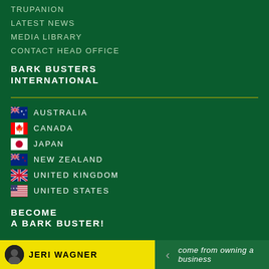TRUPANION
LATEST NEWS
MEDIA LIBRARY
CONTACT HEAD OFFICE
BARK BUSTERS INTERNATIONAL
AUSTRALIA
CANADA
JAPAN
NEW ZEALAND
UNITED KINGDOM
UNITED STATES
BECOME A BARK BUSTER!
CLICK HERE TO SELECT ANOTHER TRAINER
JERI WAGNER
come from owning a business